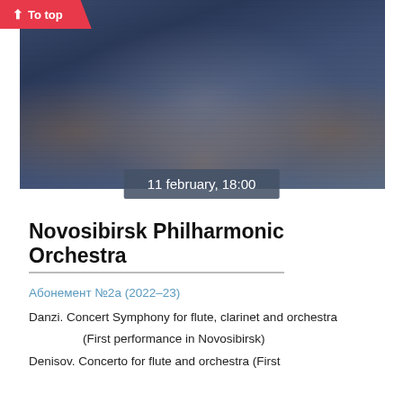[Figure (photo): Aerial/overhead view of Novosibirsk Philharmonic Orchestra musicians in formal black attire, holding instruments, arranged in a large group on a concert hall floor]
↑ To top
11 february, 18:00
Novosibirsk Philharmonic Orchestra
Абонемент №2а (2022–23)
Danzi. Concert Symphony for flute, clarinet and orchestra
(First performance in Novosibirsk)
Denisov. Concerto for flute and orchestra (First